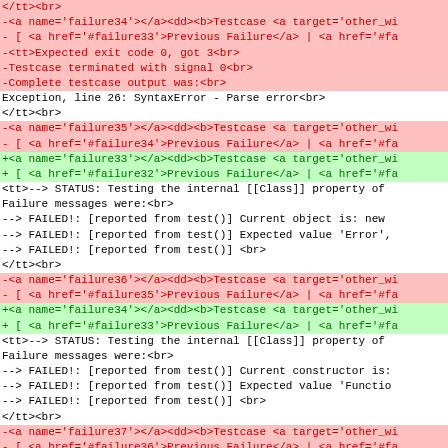Diff view of HTML test failure output showing added and removed lines for failure34 through failure37 test cases